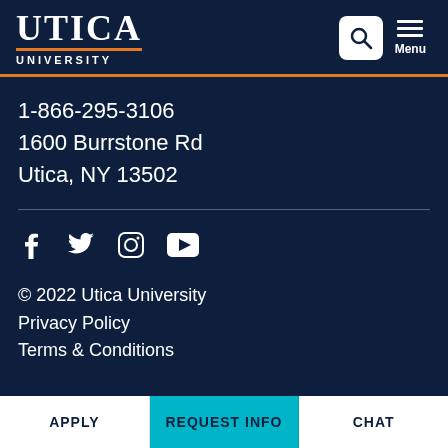[Figure (logo): Utica University logo with orange underline]
1-866-295-3106
1600 Burrstone Rd
Utica, NY 13502
[Figure (infographic): Social media icons: Facebook, Twitter, Instagram, YouTube]
© 2022 Utica University
Privacy Policy
Terms & Conditions
APPLY | REQUEST INFO | CHAT